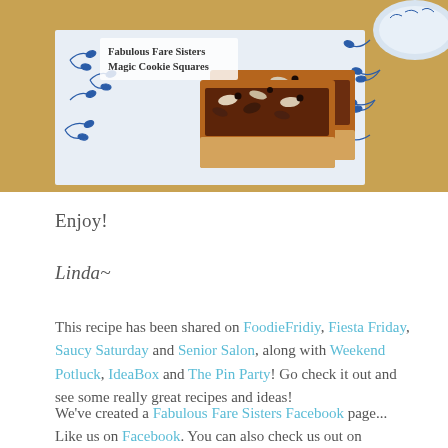[Figure (photo): Photo of Magic Cookie Squares on a blue and white floral plate with text overlay reading 'Fabulous Fare Sisters Magic Cookie Squares']
Enjoy!
Linda~
This recipe has been shared on FoodieFridiy, Fiesta Friday, Saucy Saturday and Senior Salon, along with Weekend Potluck, IdeaBox and The Pin Party! Go check it out and see some really great recipes and ideas!
We've created a Fabulous Fare Sisters Facebook page... Like us on Facebook. You can also check us out on